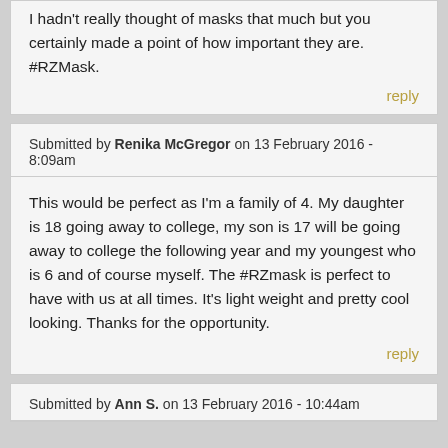I hadn't really thought of masks that much but you certainly made a point of how important they are. #RZMask.
reply
Submitted by Renika McGregor on 13 February 2016 - 8:09am
This would be perfect as I'm a family of 4. My daughter is 18 going away to college, my son is 17 will be going away to college the following year and my youngest who is 6 and of course myself. The #RZmask is perfect to have with us at all times. It's light weight and pretty cool looking. Thanks for the opportunity.
reply
Submitted by Ann S. on 13 February 2016 - 10:44am